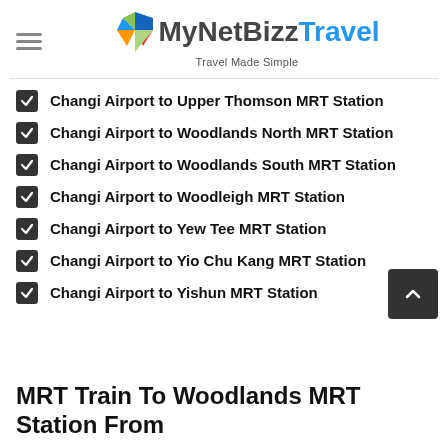MyNetBizzTravel — Travel Made Simple
Changi Airport to Upper Thomson MRT Station
Changi Airport to Woodlands North MRT Station
Changi Airport to Woodlands South MRT Station
Changi Airport to Woodleigh MRT Station
Changi Airport to Yew Tee MRT Station
Changi Airport to Yio Chu Kang MRT Station
Changi Airport to Yishun MRT Station
MRT Train To Woodlands MRT Station From